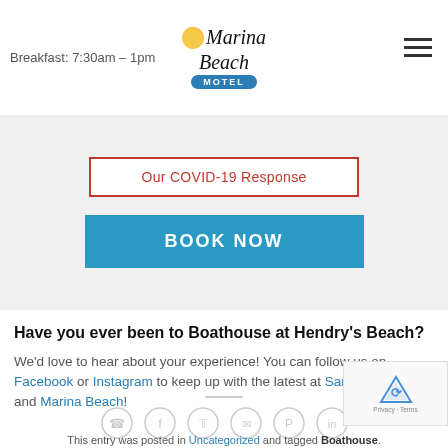Breakfast: 7:30am – 1pm | Marina Beach Motel
Our COVID-19 Response
BOOK NOW
Have you ever been to Boathouse at Hendry's Beach?
We'd love to hear about your experience! You can follow us on Facebook or Instagram to keep up with the latest at Santa Barbara and Marina Beach!
[Figure (infographic): Social media share icons: WhatsApp, Facebook, Twitter, Email, Pinterest, LinkedIn — circular outlined icons in a row]
[Figure (other): reCAPTCHA badge with robot icon and 'Privacy - Terms' text]
This entry was posted in Uncategorized and tagged Boathouse.